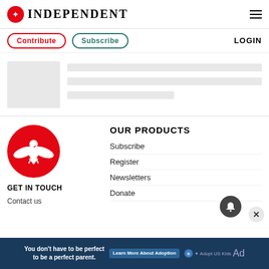INDEPENDENT
Contribute | Subscribe | LOGIN
[Figure (illustration): Skeleton loading placeholder with grey image block and grey text lines]
OUR PRODUCTS
Subscribe
Register
Newsletters
Donate
GET IN TOUCH
Contact us
[Figure (logo): The Independent eagle logo in white on red circle]
You don't have to be perfect to be a perfect parent.
Learn More About Adoption | Adopt US Kids